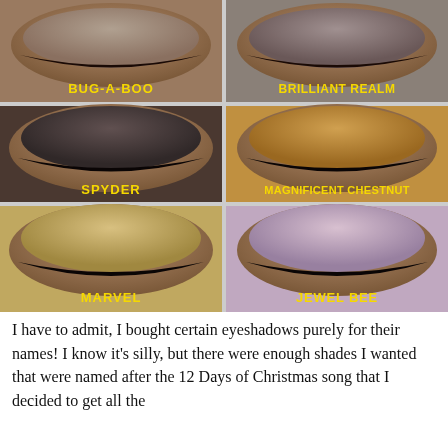[Figure (photo): A 2x3 grid of close-up eye photos showing different eyeshadow shades: Bug-A-Boo (taupe/neutral), Brilliant Realm (grey/taupe), Spyder (dark charcoal), Magnificent Chestnut (warm bronze/chestnut), Marvel (golden/champagne), Jewel Bee (lavender/purple). Each photo is labeled in bold yellow uppercase text at the bottom.]
I have to admit, I bought certain eyeshadows purely for their names! I know it's silly, but there were enough shades I wanted that were named after the 12 Days of Christmas song that I decided to get all the